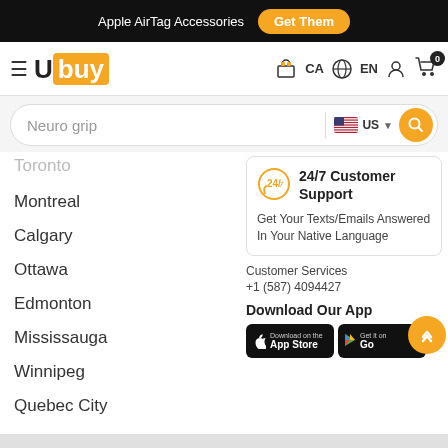Apple AirTag Accessories  Get Them
[Figure (logo): Ubuy logo with hamburger menu, CA flag, EN language selector, user icon, cart with badge 0]
[Figure (screenshot): Search bar with text 'Neuro grip', US flag dropdown, and search button]
Toronto
Montreal
Calgary
Ottawa
Edmonton
Mississauga
Winnipeg
Quebec City
24/7 Customer Support
Get Your Texts/Emails Answered In Your Native Language
Customer Services
+1 (587) 4094427
Download Our App